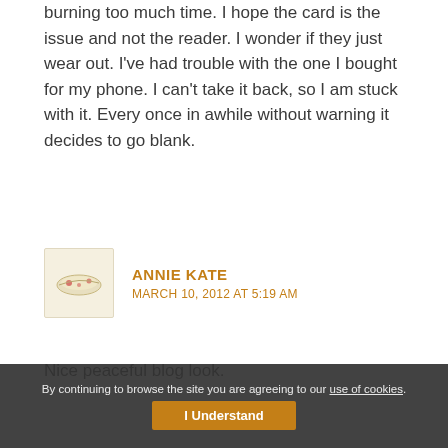burning too much time. I hope the card is the issue and not the reader. I wonder if they just wear out. I've had trouble with the one I bought for my phone. I can't take it back, so I am stuck with it. Every once in awhile without warning it decides to go blank.
ANNIE KATE
MARCH 10, 2012 AT 5:19 AM
Nice peaceful blog look.
By continuing to browse the site you are agreeing to our use of cookies.
I Understand